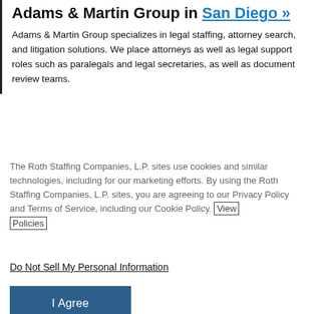Adams & Martin Group in San Diego »
Adams & Martin Group specializes in legal staffing, attorney search, and litigation solutions. We place attorneys as well as legal support roles such as paralegals and legal secretaries, as well as document review teams.
The Roth Staffing Companies, L.P. sites use cookies and similar technologies, including for our marketing efforts. By using the Roth Staffing Companies, L.P. sites, you are agreeing to our Privacy Policy and Terms of Service, including our Cookie Policy. View Policies
Do Not Sell My Personal Information
I Agree